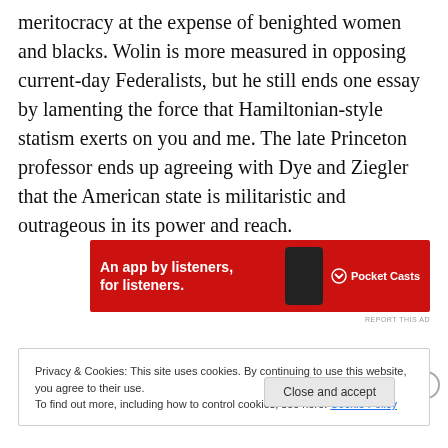meritocracy at the expense of benighted women and blacks. Wolin is more measured in opposing current-day Federalists, but he still ends one essay by lamenting the force that Hamiltonian-style statism exerts on you and me. The late Princeton professor ends up agreeing with Dye and Ziegler that the American state is militaristic and outrageous in its power and reach.
[Figure (infographic): Advertisement banner for Pocket Casts app: red background with white text 'An app by listeners, for listeners.' and Pocket Casts logo on the right, with a phone image.]
REPORT THIS AD
Privacy & Cookies: This site uses cookies. By continuing to use this website, you agree to their use.
To find out more, including how to control cookies, see here: Cookie Policy
Close and accept